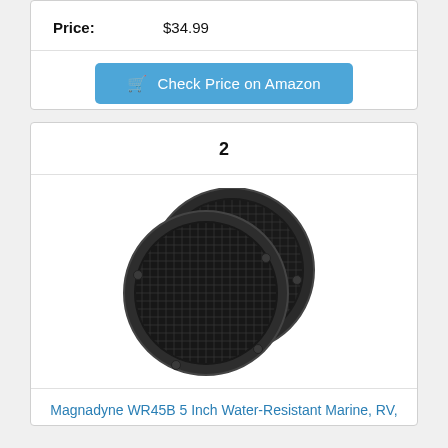Price: $34.99
Check Price on Amazon
2
[Figure (photo): Two round black marine speakers (Magnadyne WR45B) overlapping each other, showing mesh grille covers with screws around the rim.]
Magnadyne WR45B 5 Inch Water-Resistant Marine, RV,